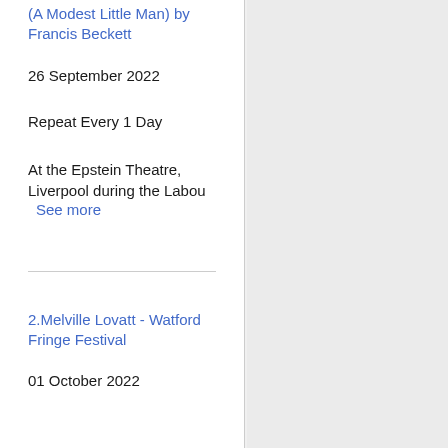(A Modest Little Man) by Francis Beckett
26 September 2022
Repeat Every 1 Day
At the Epstein Theatre, Liverpool during the Labou
See more
2.Melville Lovatt - Watford Fringe Festival
01 October 2022